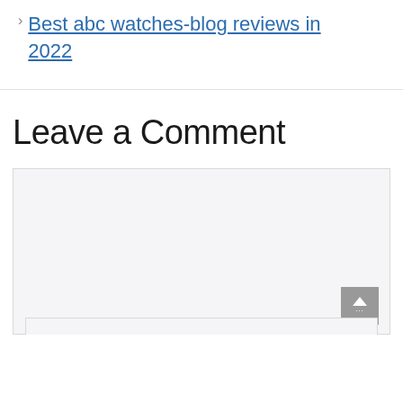Best abc watches-blog reviews in 2022
Leave a Comment